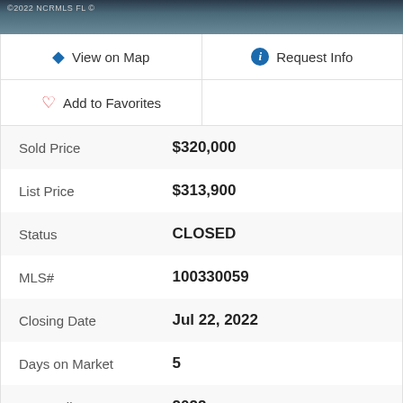[Figure (photo): Aerial or landscape photo with ©2022 NCRMLS FL © watermark, showing water or sky in blue-gray tones]
View on Map
Request Info
Add to Favorites
| Field | Value |
| --- | --- |
| Sold Price | $320,000 |
| List Price | $313,900 |
| Status | CLOSED |
| MLS# | 100330059 |
| Closing Date | Jul 22, 2022 |
| Days on Market | 5 |
| Year Built | 2022 |